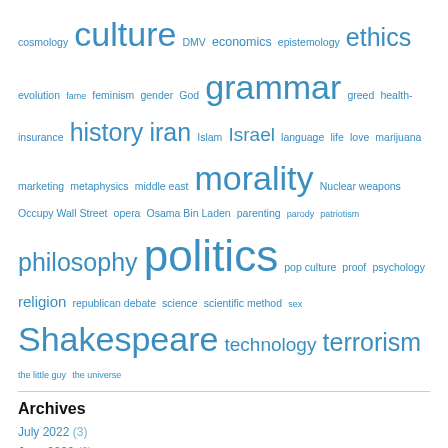cosmology culture DMV economics epistemology ethics evolution fame feminism gender God grammar greed health-insurance history iran Islam Israel language life love marijuana marketing metaphysics middle east morality Nuclear weapons Occupy Wall Street opera Osama Bin Laden parenting parody patriotism philosophy politics pop culture proof psychology religion republican debate science scientific method sex Shakespeare technology terrorism the little guy the universe
Archives
July 2022 (3)
June 2022 (2)
May 2022 (1)
April 2022 (2)
February 2022 (1)
January 2022 (3)
December 2021 (1)